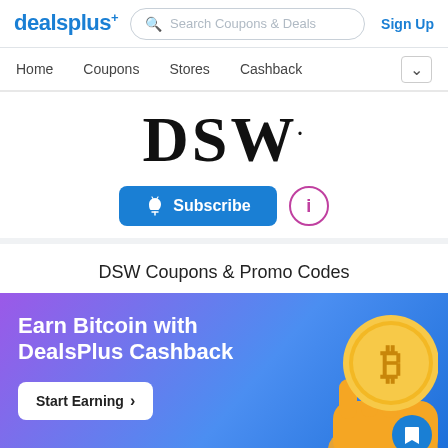dealsplus+ | Search Coupons & Deals | Sign Up
Home  Coupons  Stores  Cashback
[Figure (logo): DSW logo in large serif black letters with a subscript dot]
Subscribe
DSW Coupons & Promo Codes
[Figure (infographic): Promotional banner with gradient purple-to-blue background, text: Earn Bitcoin with DealsPlus Cashback, Start Earning button, and a 3D illustration of a hand holding a Bitcoin coin]